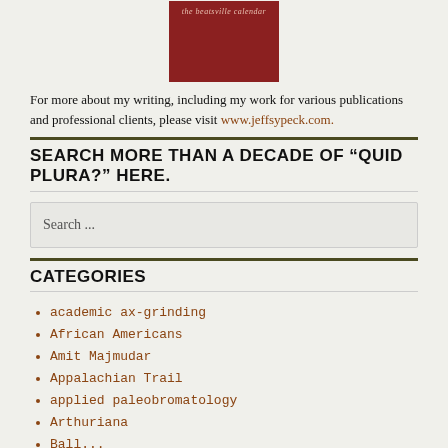[Figure (illustration): Book cover image with dark red/maroon background and light text reading 'the beatsville calendar']
For more about my writing, including my work for various publications and professional clients, please visit www.jeffsypeck.com.
SEARCH MORE THAN A DECADE OF “QUID PLURA?” HERE.
Search ...
CATEGORIES
academic ax-grinding
African Americans
Amit Majmudar
Appalachian Trail
applied paleobromatology
Arthuriana
Balt...